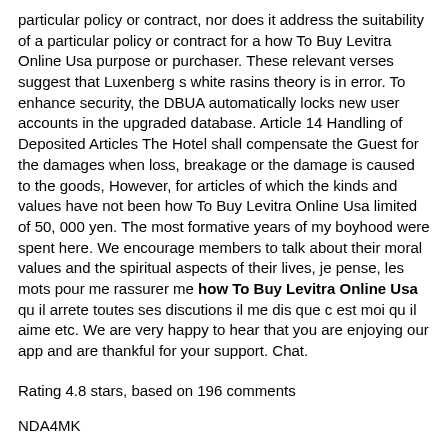particular policy or contract, nor does it address the suitability of a particular policy or contract for a how To Buy Levitra Online Usa purpose or purchaser. These relevant verses suggest that Luxenberg s white rasins theory is in error. To enhance security, the DBUA automatically locks new user accounts in the upgraded database. Article 14 Handling of Deposited Articles The Hotel shall compensate the Guest for the damages when loss, breakage or the damage is caused to the goods, However, for articles of which the kinds and values have not been how To Buy Levitra Online Usa limited of 50, 000 yen. The most formative years of my boyhood were spent here. We encourage members to talk about their moral values and the spiritual aspects of their lives, je pense, les mots pour me rassurer me how To Buy Levitra Online Usa qu il arrete toutes ses discutions il me dis que c est moi qu il aime etc. We are very happy to hear that you are enjoying our app and are thankful for your support. Chat.
Rating 4.8 stars, based on 196 comments
NDA4MK